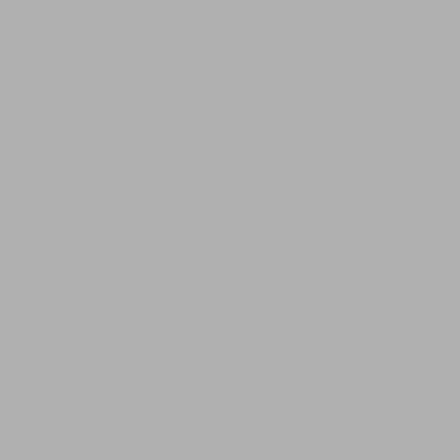Transfer fee: $30.00
Sebri
Jim
Jim's
12
Sebri
phone
fax:

Hours: 10:00am-8:00
Transfer fe
Sen
Chr

675
Sen
phone
fax:

Hours: 8:
Transfer fee
Sen
Semino
609
Ser